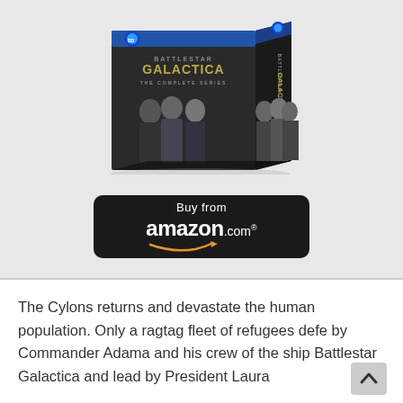[Figure (photo): Battlestar Galactica: The Complete Series Blu-ray box set, showing a 3D box with cast members in black and white on the front and side, with blue Blu-ray logo on top.]
[Figure (logo): Buy from amazon.com button - black rounded rectangle with 'Buy from' text above 'amazon.com' in white with orange smile arrow logo.]
The Cylons returns and devastate the human population. Only a ragtag fleet of refugees defe by Commander Adama and his crew of the ship Battlestar Galactica and lead by President Laura